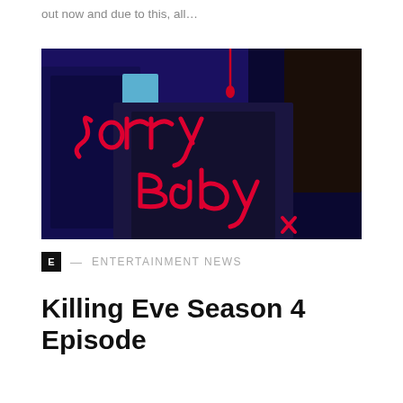out now and due to this, all…
[Figure (photo): Promotional image for Killing Eve Season 4 showing two figures in dark clothing with 'Sorry Baby' written in red script over a dark blue background.]
E — ENTERTAINMENT NEWS
Killing Eve Season 4 Episode